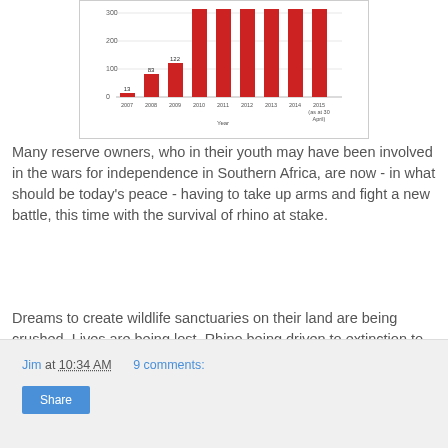[Figure (bar-chart): Rhino poaching statistics]
Many reserve owners, who in their youth may have been involved in the wars for independence in Southern Africa, are now - in what should be today's peace - having to take up arms and fight a new battle, this time with the survival of rhino at stake.
Dreams to create wildlife sanctuaries on their land are being crushed. Lives are being lost. Rhino being driven to extinction to supply Asian demand for rhino horn.
Jim at 10:34 AM    9 comments:   Share